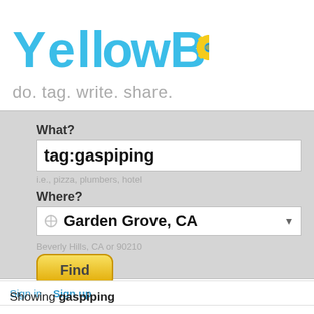[Figure (logo): YellowBot logo with blue and yellow stylized text and a gear icon, with registered trademark symbol]
do. tag. write. share.
What?
tag:gaspiping
i.e., pizza, plumbers, hotel
Where?
Garden Grove, CA
Beverly Hills, CA or 90210
Find
Sign in  Sign up
Showing gaspiping